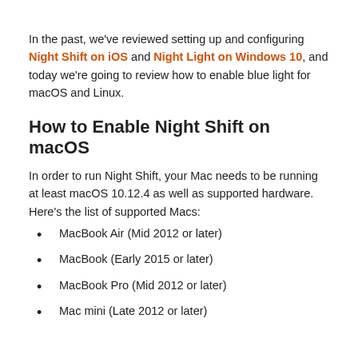In the past, we've reviewed setting up and configuring Night Shift on iOS and Night Light on Windows 10, and today we're going to review how to enable blue light for macOS and Linux.
How to Enable Night Shift on macOS
In order to run Night Shift, your Mac needs to be running at least macOS 10.12.4 as well as supported hardware. Here's the list of supported Macs:
MacBook Air (Mid 2012 or later)
MacBook (Early 2015 or later)
MacBook Pro (Mid 2012 or later)
Mac mini (Late 2012 or later)